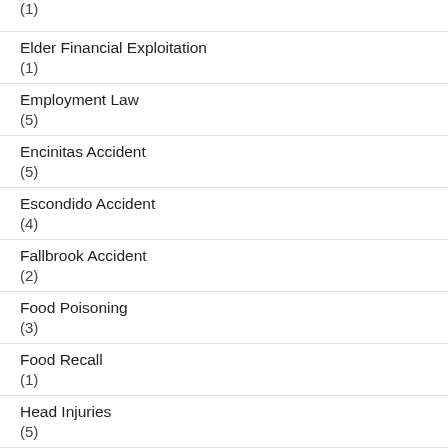(1)
Elder Financial Exploitation
(1)
Employment Law
(5)
Encinitas Accident
(5)
Escondido Accident
(4)
Fallbrook Accident
(2)
Food Poisoning
(3)
Food Recall
(1)
Head Injuries
(5)